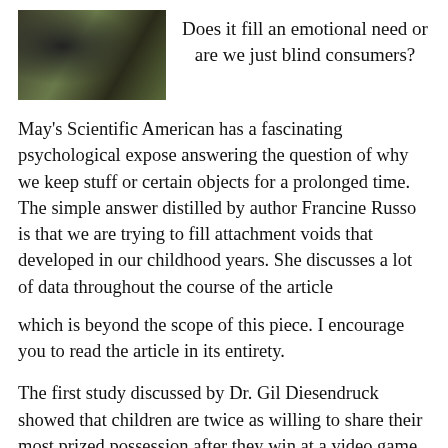[Figure (photo): Photo of a person holding green plants or vegetables, dark background]
Does it fill an emotional need or are we just blind consumers?
May's Scientific American has a fascinating psychological expose answering the question of why we keep stuff or certain objects for a prolonged time. The simple answer distilled by author Francine Russo is that we are trying to fill attachment voids that developed in our childhood years. She discusses a lot of data throughout the course of the article
which is beyond the scope of this piece. I encourage you to read the article in its entirety.
The first study discussed by Dr. Gil Diesendruck showed that children are twice as willing to share their most prized possession after they win at a video game as compared to when they lose. It is interesting to think that a positive experience will reduce the need for a favored security object.